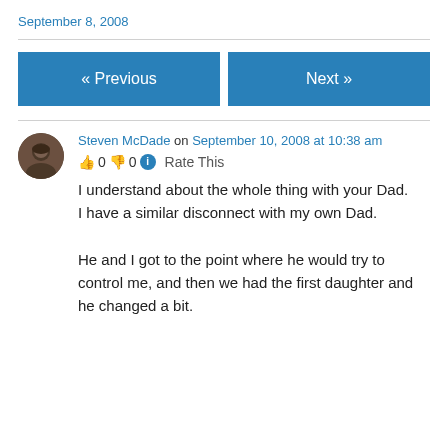September 8, 2008
« Previous
Next »
Steven McDade on September 10, 2008 at 10:38 am
👍 0 👎 0 ℹ Rate This
I understand about the whole thing with your Dad.
I have a similar disconnect with my own Dad.

He and I got to the point where he would try to control me, and then we had the first daughter and he changed a bit.